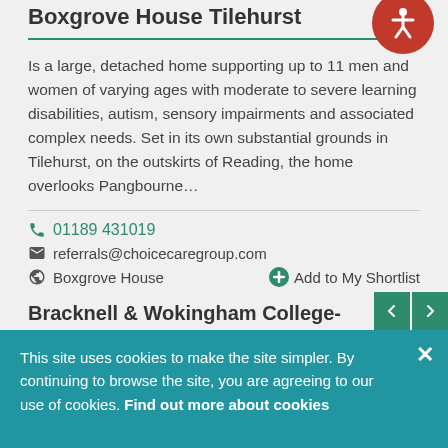Boxgrove House Tilehurst
Is a large, detached home supporting up to 11 men and women of varying ages with moderate to severe learning disabilities, autism, sensory impairments and associated complex needs. Set in its own substantial grounds in Tilehurst, on the outskirts of Reading, the home overlooks Pangbourne…
📞 01189 431019
✉ referrals@choicecaregroup.com
🌐 Boxgrove House   ➕ Add to My Shortlist
Bracknell & Wokingham College-
This site uses cookies to make the site simpler. By continuing to browse the site, you are agreeing to our use of cookies. Find out more about cookies